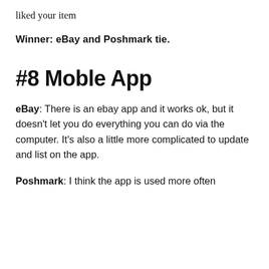liked your item
Winner: eBay and Poshmark tie.
#8 Moble App
eBay: There is an ebay app and it works ok, but it doesn't let you do everything you can do via the computer. It's also a little more complicated to update and list on the app.
Poshmark: I think the app is used more often